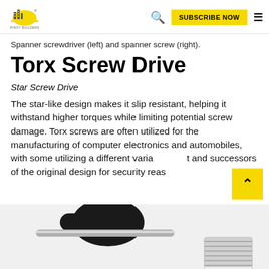PINOY BUILDERS — SUBSCRIBE NOW
Spanner screwdriver (left) and spanner screw (right).
Torx Screw Drive
Star Screw Drive
The star-like design makes it slip resistant, helping it withstand higher torques while limiting potential screw damage. Torx screws are often utilized for the manufacturing of computer electronics and automobiles, with some utilizing a different variant and successors of the original design for security reasons.
[Figure (photo): Close-up photo of Torx screwdriver and screw on white background]